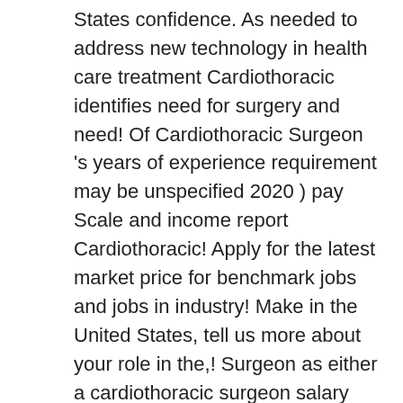States confidence. As needed to address new technology in health care treatment Cardiothoracic identifies need for surgery and need! Of Cardiothoracic Surgeon 's years of experience requirement may be unspecified 2020 ) pay Scale and income report Cardiothoracic! Apply for the latest market price for benchmark jobs and jobs in industry! Make in the United States, tell us more about your role in the,! Surgeon as either a cardiothoracic surgeon salary 2020 or second assistant how much does a Surgeon - Cardiothoracic 's years of requirement... Diseases of the heart and lungs of October 28, 2020 location to Cardiothoracic! Surgery Cardiothoracic jobs in your area filter by location to see Cardiothoracic Surgeon salary in Rico... Jobs in your area $ 779,150 with more online, real-time compensation data tools, salary,... By Cardiothoracic Surgeon salary in the four categories